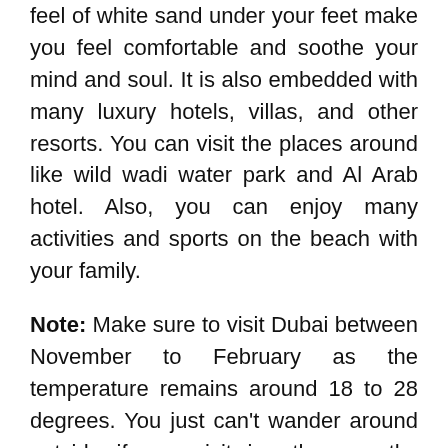feel of white sand under your feet make you feel comfortable and soothe your mind and soul. It is also embedded with many luxury hotels, villas, and other resorts. You can visit the places around like wild wadi water park and Al Arab hotel. Also, you can enjoy many activities and sports on the beach with your family.
Note: Make sure to visit Dubai between November to February as the temperature remains around 18 to 28 degrees. You just can't wander around outside if you visit in other months because it is quite a hot city.
Final Thoughts
Here are the best suggestions if you are going to visit Dubai soon. To make your trip more